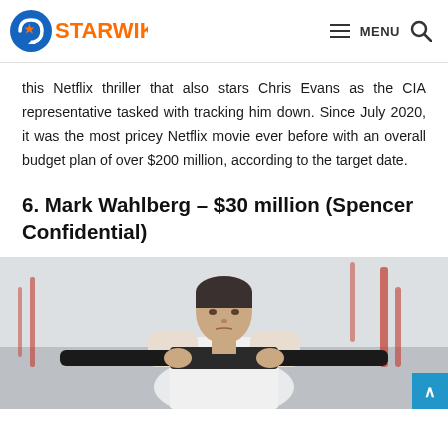STARWIKIZ — MENU
this Netflix thriller that also stars Chris Evans as the CIA representative tasked with tracking him down. Since July 2020, it was the most pricey Netflix movie ever before with an overall budget plan of over $200 million, according to the target date.
6. Mark Wahlberg – $30 million (Spencer Confidential)
[Figure (photo): Mark Wahlberg in a gym scene holding a barbell, wearing a white sleeveless shirt, gym equipment visible in the background]